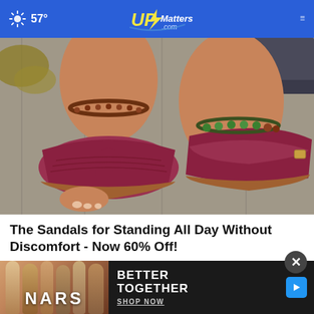57° UpMatters.com
[Figure (photo): Close-up photo of feet wearing red/burgundy textured thong sandals with wedge soles and ankle bracelets, one with green beads. Background shows wooden surface and plants.]
The Sandals for Standing All Day Without Discomfort - Now 60% Off!
Surse
[Figure (photo): NARS cosmetics advertisement banner: NARS makeup products on left, text reading BETTER TOGETHER SHOP NOW on right, with a play button icon.]